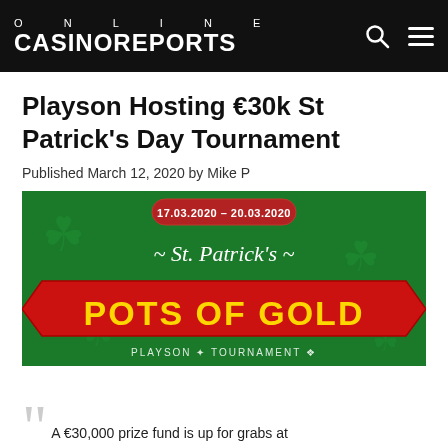ONLINE CASINOREPORTS
Playson Hosting €30k St Patrick's Day Tournament
Published March 12, 2020 by Mike P
[Figure (photo): St. Patrick's Pots of Gold Playson Tournament banner. Green background with shamrocks, red ribbon reading 'POTS OF GOLD' in yellow text, dates 17.03.2020 – 20.03.2020 shown at top, 'St. Patrick's' in white script, 'PLAYSON TOURNAMENT' at bottom.]
A €30,000 prize fund is up for grabs at